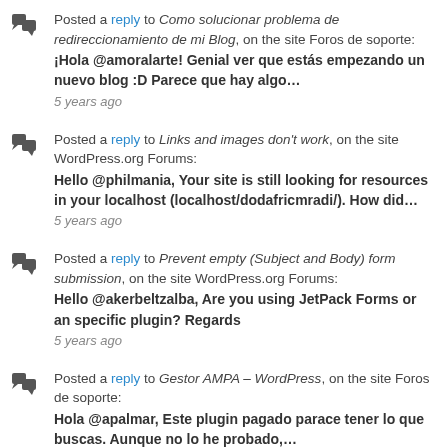Posted a reply to Como solucionar problema de redireccionamiento de mi Blog, on the site Foros de soporte: ¡Hola @amoralarte! Genial ver que estás empezando un nuevo blog :D Parece que hay algo… 5 years ago
Posted a reply to Links and images don't work, on the site WordPress.org Forums: Hello @philmania, Your site is still looking for resources in your localhost (localhost/dodafricmradi/). How did… 5 years ago
Posted a reply to Prevent empty (Subject and Body) form submission, on the site WordPress.org Forums: Hello @akerbeltzalba, Are you using JetPack Forms or an specific plugin? Regards 5 years ago
Posted a reply to Gestor AMPA – WordPress, on the site Foros de soporte: Hola @apalmar, Este plugin pagado parace tener lo que buscas. Aunque no lo he probado,… 5 years ago